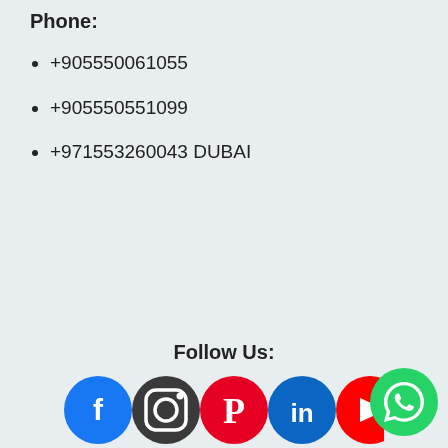Phone:
+905550061055
+905550551099
+971553260043 DUBAI
Follow Us:
[Figure (illustration): Social media icons: Facebook, Instagram, Pinterest, LinkedIn, YouTube]